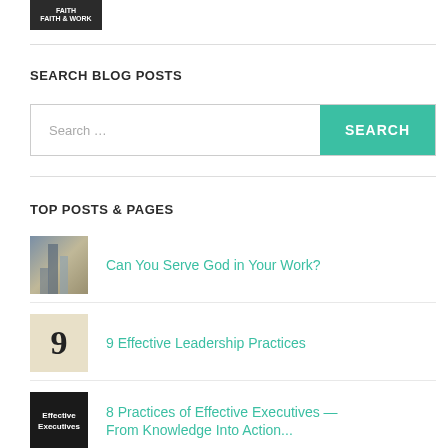[Figure (logo): Dark box with white text logo]
SEARCH BLOG POSTS
Search ...
SEARCH
TOP POSTS & PAGES
Can You Serve God in Your Work?
9 Effective Leadership Practices
8 Practices of Effective Executives — From Knowledge Into Action...